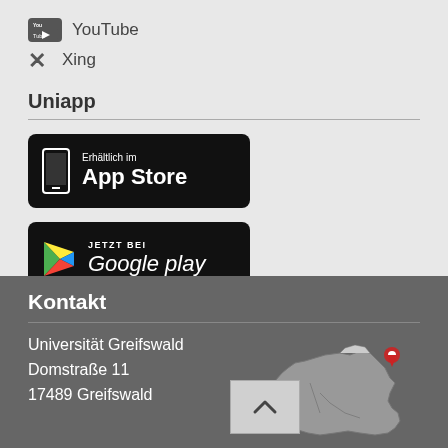YouTube
Xing
Uniapp
[Figure (screenshot): App Store badge: Erhältlich im App Store]
[Figure (screenshot): Google Play badge: JETZT BEI Google play]
Kontakt
Universität Greifswald
Domstraße 11
17489 Greifswald
[Figure (map): Map of Germany with red location pin marking Greifswald in the northeast]